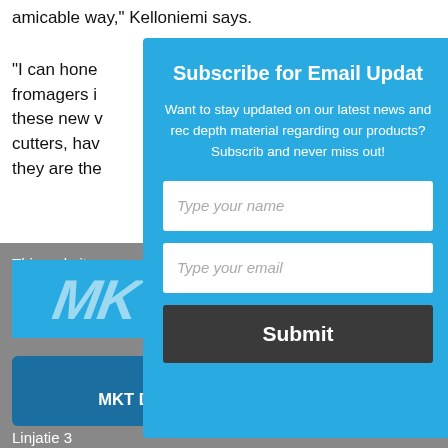amicable way, Kelloniemi says.
“I can hone fromagers i these new v cutters, hav they are the
[Figure (logo): Facebook logo icon (blue square with white 'f')]
[Figure (logo): Twitter logo icon (blue square with white bird)]
This website u best experience on our website. Learn more
[Figure (logo): MKT logo in white italic text on blue background]
I agree
MKT Dairy / High Metal Oy
Linjatie 3
Subscribe for Email Updat
Want to stay updated on our latest news and rec depth material regarding our products? Subscrib and never miss out!
Type your name
Type your email
Submit